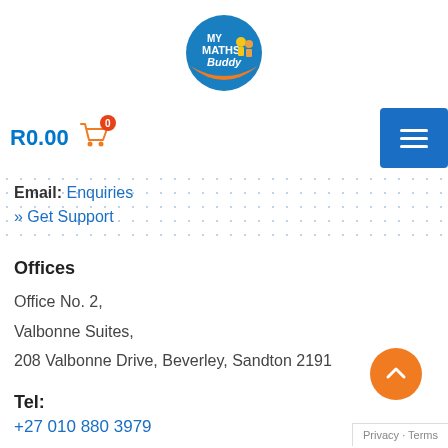[Figure (logo): My Maths Buddy circular logo with blue background, orange bottom arc, and cartoon students]
R0.00 (cart icon with badge 0)
Email: Enquiries
» Get Support
Offices
Office No. 2,
Valbonne Suites,
208 Valbonne Drive, Beverley, Sandton 2191
Tel:
+27 010 880 3979